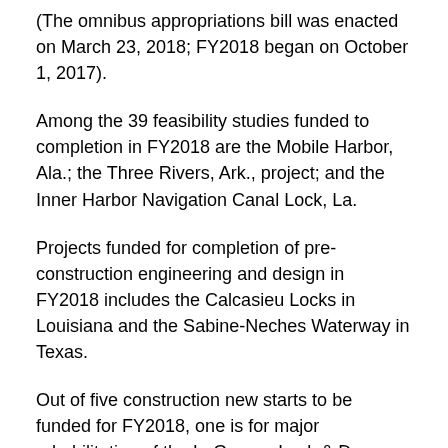(The omnibus appropriations bill was enacted on March 23, 2018; FY2018 began on October 1, 2017).
Among the 39 feasibility studies funded to completion in FY2018 are the Mobile Harbor, Ala.; the Three Rivers, Ark., project; and the Inner Harbor Navigation Canal Lock, La.
Projects funded for completion of pre-construction engineering and design in FY2018 includes the Calcasieu Locks in Louisiana and the Sabine-Neches Waterway in Texas.
Out of five construction new starts to be funded for FY2018, one is for major rehabilitation of the LaGrange Lock & Dam on the Illinois Waterway.